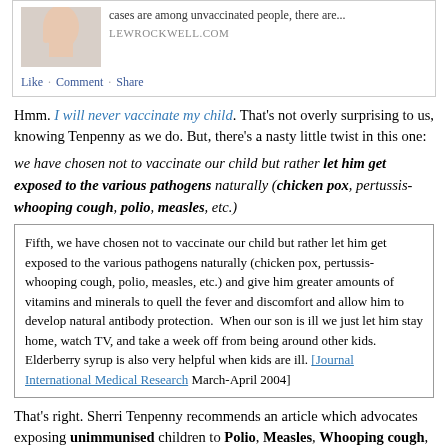[Figure (screenshot): Social media post snippet showing partial text 'cases are among unvaccinated people, there are...' with source LEWROCKWELL.COM, a hand/photo thumbnail, and Like · Comment · Share actions]
Hmm. I will never vaccinate my child. That's not overly surprising to us, knowing Tenpenny as we do. But, there's a nasty little twist in this one:
we have chosen not to vaccinate our child but rather let him get exposed to the various pathogens naturally (chicken pox, pertussis- whooping cough, polio, measles, etc.)
Fifth, we have chosen not to vaccinate our child but rather let him get exposed to the various pathogens naturally (chicken pox, pertussis- whooping cough, polio, measles, etc.) and give him greater amounts of vitamins and minerals to quell the fever and discomfort and allow him to develop natural antibody protection. When our son is ill we just let him stay home, watch TV, and take a week off from being around other kids. Elderberry syrup is also very helpful when kids are ill. [Journal International Medical Research March-April 2004]
That's right. Sherri Tenpenny recommends an article which advocates exposing unimmunised children to Polio, Measles, Whooping cough, and Chicken Pox. I'm still attempting to figure out in my inside voice, the reasons why children get the...